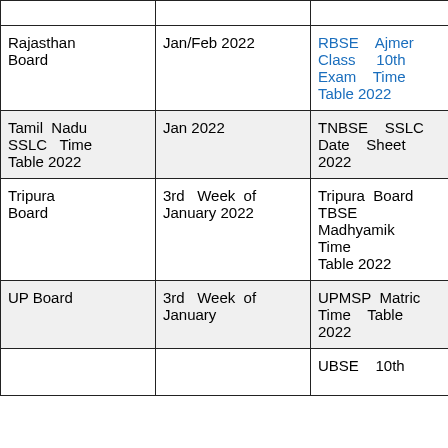| Board | Exam Date | Time Table Link |  |
| --- | --- | --- | --- |
| Rajasthan Board | Jan/Feb 2022 | RBSE Ajmer Class 10th Exam Time Table 2022 | A S |
| Tamil Nadu SSLC Time Table 2022 | Jan 2022 | TNBSE SSLC Date Sheet 2022 | A S |
| Tripura Board | 3rd Week of January 2022 | Tripura Board TBSE Madhyamik Time Table 2022 | A S |
| UP Board | 3rd Week of January | UPMSP Matric Time Table 2022 | A S |
|  |  | UBSE 10th |  |